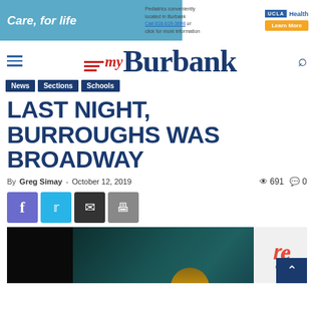[Figure (other): UCLA Health advertisement banner: 'Care, for life' with text about Pediatrics conveniently located in Burbank, Call 818-619-3698 or click for more information, UCLA Health logo and Learn More button]
[Figure (logo): myBurbank news website logo with hamburger menu icon on left and search icon on right]
News | Sections | Schools
LAST NIGHT, BURROUGHS WAS BROADWAY
By Greg Simay - October 12, 2019  👁 691  💬 0
[Figure (other): Social sharing buttons: Facebook (purple), Twitter (blue), Email (dark), Print (gray)]
[Figure (photo): Dark stage/theater photo showing what appears to be a stage performance or theater setting with teal/dark lighting]